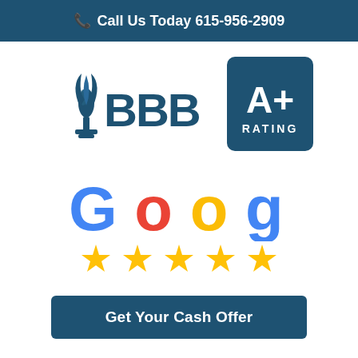Call Us Today 615-956-2909
[Figure (logo): BBB (Better Business Bureau) logo with torch flame icon and 'BBB' text in dark blue, alongside an A+ Rating badge in a dark blue rounded rectangle]
[Figure (logo): Google logo in multicolor letters (blue, red, yellow, blue, green, red) with five gold stars below]
Get Your Cash Offer